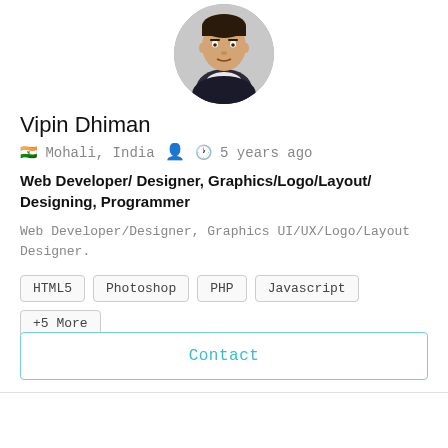[Figure (photo): Circular profile photo of Vipin Dhiman, a young man in a dark jacket]
Vipin Dhiman
🇮🇳 Mohali, India   👤   🕐 5 years ago
Web Developer/ Designer, Graphics/Logo/Layout/ Designing, Programmer
Web Developer/Designer, Graphics UI/UX/Logo/Layout Designer.
HTML5
Photoshop
PHP
Javascript
+5 More
$ 7/hr
Contact